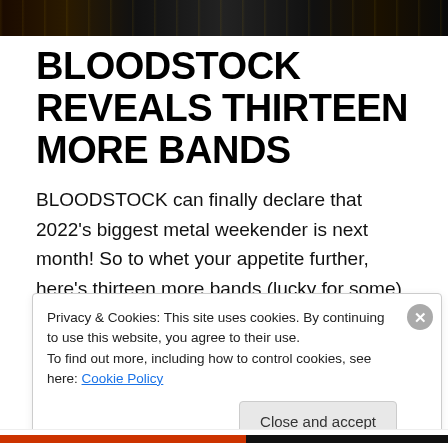[Figure (photo): Dark banner image at top of page, appears to be a festival/event header with dark background and decorative elements]
BLOODSTOCK REVEALS THIRTEEN MORE BANDS
BLOODSTOCK can finally declare that 2022's biggest metal weekender is next month! So to whet your appetite further, here's thirteen more bands (lucky for some) you'll be able to catch at the festival, plus details of exactly when you can put your own questions to some of this year's …
Continue reading →
Privacy & Cookies: This site uses cookies. By continuing to use this website, you agree to their use.
To find out more, including how to control cookies, see here: Cookie Policy
Close and accept